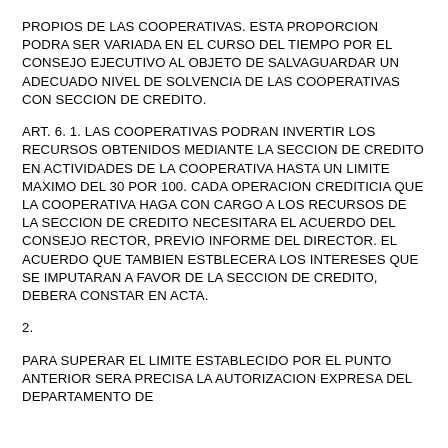PROPIOS DE LAS COOPERATIVAS. ESTA PROPORCION PODRA SER VARIADA EN EL CURSO DEL TIEMPO POR EL CONSEJO EJECUTIVO AL OBJETO DE SALVAGUARDAR UN ADECUADO NIVEL DE SOLVENCIA DE LAS COOPERATIVAS CON SECCION DE CREDITO.
ART. 6. 1. LAS COOPERATIVAS PODRAN INVERTIR LOS RECURSOS OBTENIDOS MEDIANTE LA SECCION DE CREDITO EN ACTIVIDADES DE LA COOPERATIVA HASTA UN LIMITE MAXIMO DEL 30 POR 100. CADA OPERACION CREDITICIA QUE LA COOPERATIVA HAGA CON CARGO A LOS RECURSOS DE LA SECCION DE CREDITO NECESITARA EL ACUERDO DEL CONSEJO RECTOR, PREVIO INFORME DEL DIRECTOR. EL ACUERDO QUE TAMBIEN ESTBLECERA LOS INTERESES QUE SE IMPUTARAN A FAVOR DE LA SECCION DE CREDITO, DEBERA CONSTAR EN ACTA.
2.
PARA SUPERAR EL LIMITE ESTABLECIDO POR EL PUNTO ANTERIOR SERA PRECISA LA AUTORIZACION EXPRESA DEL DEPARTAMENTO DE